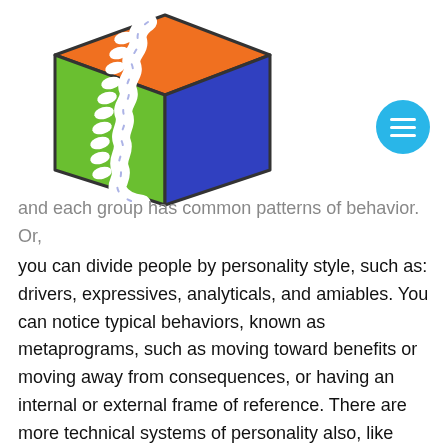[Figure (illustration): A 3D hexagonal box logo with a spine/vertebrae illustration in white in the center, with colored panels: orange on top, green on the left, and blue on the right, outlined with dark border.]
and each group has common patterns of behavior. Or, you can divide people by personality style, such as: drivers, expressives, analyticals, and amiables. You can notice typical behaviors, known as metaprograms, such as moving toward benefits or moving away from consequences, or having an internal or external frame of reference. There are more technical systems of personality also, like Myers-Briggs or the enneagram, which offer a deeper understanding of personality and can help create a pathway to personal growth.